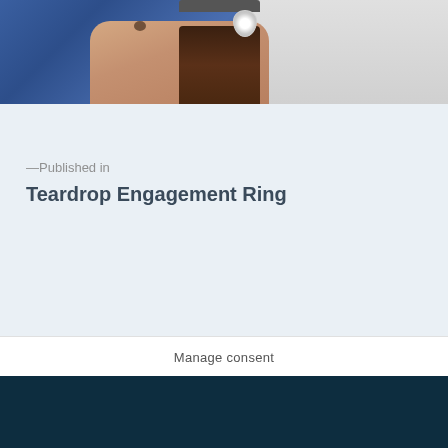[Figure (photo): Close-up photo of a hand wearing a large teardrop/pear-shaped diamond engagement ring, holding a dark glass bottle. The hand is positioned against a blue fabric (shirt) on the left and white fabric on the right. A tattoo is visible on the hand.]
—Published in
Teardrop Engagement Ring
Manage consent